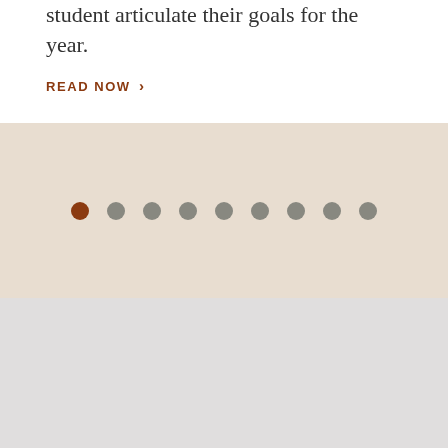student articulate their goals for the year.
READ NOW >
[Figure (other): Carousel pagination dots — one active brown dot followed by eight gray dots on a beige background]
[Figure (other): Light gray empty section at the bottom of the page]